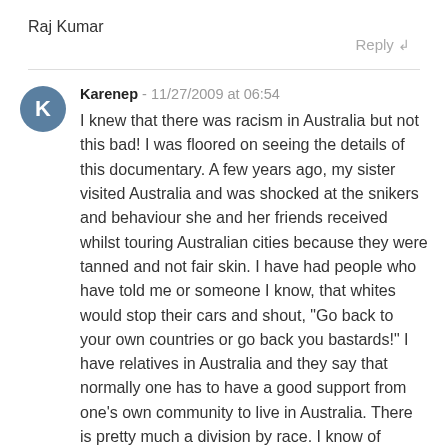Raj Kumar
Reply
Karenep - 11/27/2009 at 06:54
I knew that there was racism in Australia but not this bad! I was floored on seeing the details of this documentary. A few years ago, my sister visited Australia and was shocked at the snikers and behaviour she and her friends received whilst touring Australian cities because they were tanned and not fair skin. I have had people who have told me or someone I know, that whites would stop their cars and shout, "Go back to your own countries or go back you bastards!" I have relatives in Australia and they say that normally one has to have a good support from one's own community to live in Australia. There is pretty much a division by race. I know of friends who are studying in Australia who are Asians, and they